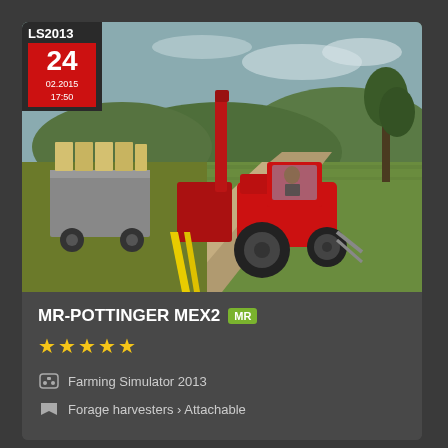[Figure (screenshot): Farming Simulator 2013 screenshot showing a red tractor with a forage harvester attachment on a dirt road, with a trailer loaded with hay bales. Green fields and hills in background. Overlay shows LS2013 badge with date 24, 02.2015, 17:50.]
MR-POTTINGER MEX2 MR
★★★★★
Farming Simulator 2013
Forage harvesters › Attachable